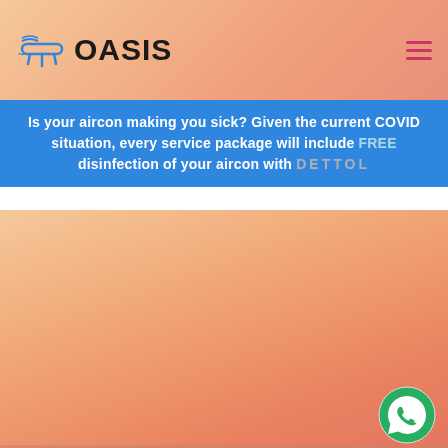[Figure (logo): OASIS brand logo with aircon icon in teal/blue on a peach/orange gradient header background]
Is your aircon making you sick? Given the current COVID situation, every service package will include FREE disinfection of your aircon with DETTOL
[Figure (photo): Hero section with peach-to-orange gradient background and 'Service My Aircon!' button]
CALL
SMS
WHATSAPP
[Figure (logo): WhatsApp floating action button (green circle with white WhatsApp phone icon)]